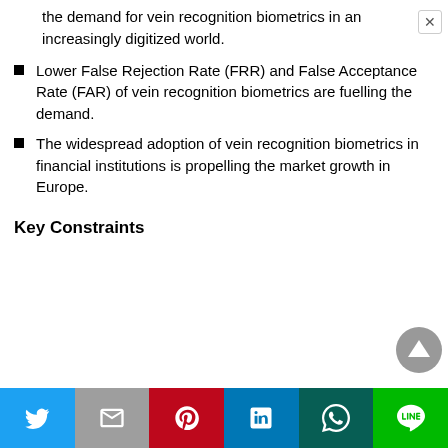the demand for vein recognition biometrics in an increasingly digitized world.
Lower False Rejection Rate (FRR) and False Acceptance Rate (FAR) of vein recognition biometrics are fuelling the demand.
The widespread adoption of vein recognition biometrics in financial institutions is propelling the market growth in Europe.
Key Constraints